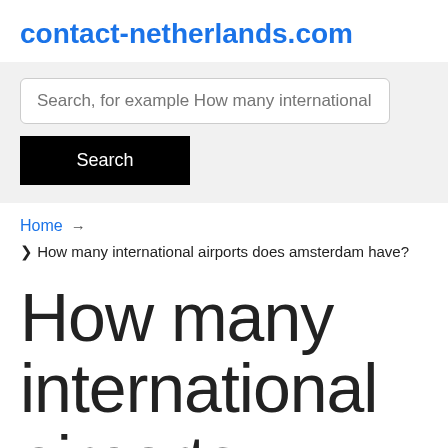contact-netherlands.com
[Figure (screenshot): Search input box with placeholder text 'Search, for example How many international airp']
[Figure (screenshot): Black search button with white text 'Search']
Home → ❯ How many international airports does amsterdam have?
How many international airports does amsterdam